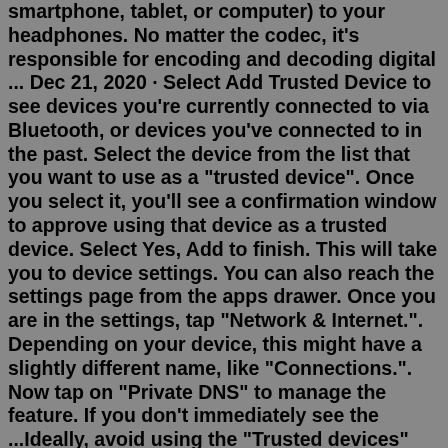smartphone, tablet, or computer) to your headphones. No matter the codec, it's responsible for encoding and decoding digital ... Dec 21, 2020 · Select Add Trusted Device to see devices you're currently connected to via Bluetooth, or devices you've connected to in the past. Select the device from the list that you want to use as a "trusted device". Once you select it, you'll see a confirmation window to approve using that device as a trusted device. Select Yes, Add to finish. This will take you to device settings. You can also reach the settings page from the apps drawer. Once you are in the settings, tap "Network & Internet.". Depending on your device, this might have a slightly different name, like "Connections.". Now tap on "Private DNS" to manage the feature. If you don't immediately see the ...Ideally, avoid using the "Trusted devices" setting altogether, as this will keep your phone unlocked at all times while it's connected to a Bluetooth accessory. Tip 2: Encrypt the Device Encryption is highly useful tool for protecting your information in the event a device is ever stolen.bates